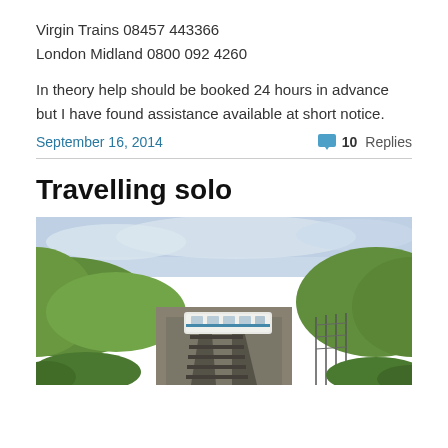Virgin Trains 08457 443366
London Midland 0800 092 4260
In theory help should be booked 24 hours in advance but I have found assistance available at short notice.
September 16, 2014
💬 10 Replies
Travelling solo
[Figure (photo): A passenger train travelling along a railway line cut through green hilly countryside, with an overcast sky above.]